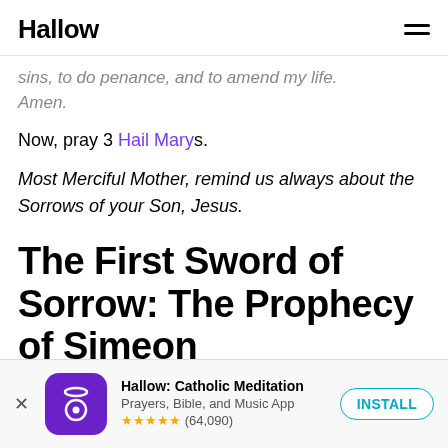Hallow
sins, to do penance, and to amend my life. Amen.
Now, pray 3 Hail Marys.
Most Merciful Mother, remind us always about the Sorrows of your Son, Jesus.
The First Sword of Sorrow: The Prophecy of Simeon
[Figure (screenshot): App store advertisement banner for Hallow: Catholic Meditation app. Shows purple app icon with halo and circle, app name, subtitle 'Prayers, Bible, and Music App', 5-star rating with (64,090) reviews, and an INSTALL button.]